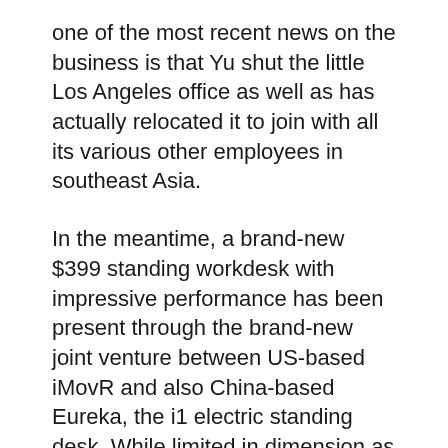one of the most recent news on the business is that Yu shut the little Los Angeles office as well as has actually relocated it to join with all its various other employees in southeast Asia.
In the meantime, a brand-new $399 standing workdesk with impressive performance has been present through the brand-new joint venture between US-based iMovR and also China-based Eureka, the i1 electric standing desk. While limited in dimension as well as shade choices, it has actually taken the mantle away from StandDesk’s long-ago standing as the most effective standing desk under $400.